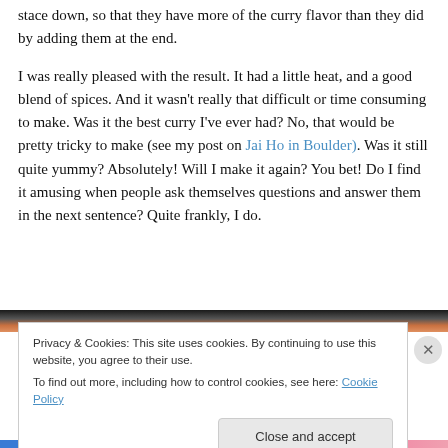stace down, so that they have more of the curry flavor than they did by adding them at the end.
I was really pleased with the result. It had a little heat, and a good blend of spices. And it wasn't really that difficult or time consuming to make. Was it the best curry I've ever had? No, that would be pretty tricky to make (see my post on Jai Ho in Boulder). Was it still quite yummy? Absolutely! Will I make it again? You bet! Do I find it amusing when people ask themselves questions and answer them in the next sentence? Quite frankly, I do.
[Figure (photo): Partial view of a food photo with dark and orange/brown tones at the top of the cookie banner area]
Privacy & Cookies: This site uses cookies. By continuing to use this website, you agree to their use.
To find out more, including how to control cookies, see here: Cookie Policy
Close and accept